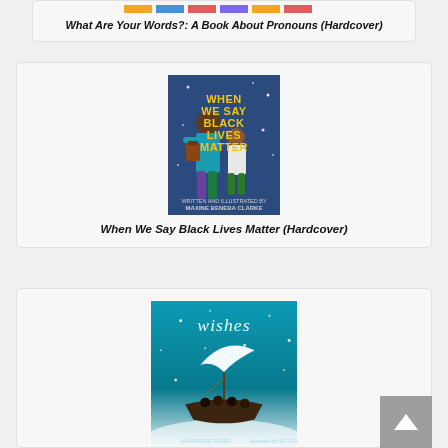[Figure (illustration): Book cover for 'What Are Your Words?: A Book About Pronouns' with colorful banner at top]
What Are Your Words?: A Book About Pronouns (Hardcover)
[Figure (illustration): Book cover for 'When We Say Black Lives Matter' showing two figures on a blue background with yellow bold text]
When We Say Black Lives Matter (Hardcover)
[Figure (illustration): Book cover for 'Wishes' showing a boat on a teal misty background with white sparkles and the word 'wishes' at top]